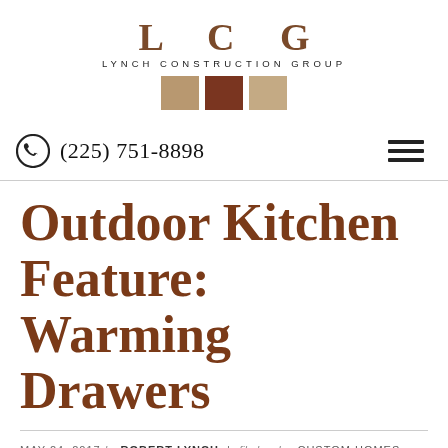[Figure (logo): LCG Lynch Construction Group logo with large serif letters L C G, company name below, and three colored squares (tan, dark red, light tan)]
(225) 751-8898
Outdoor Kitchen Feature: Warming Drawers
MAY 24, 2017 by ROBERT LYNCH | filed under: CUSTOM HOMES, DESIGN, HOME BUILDING | 2 Comments